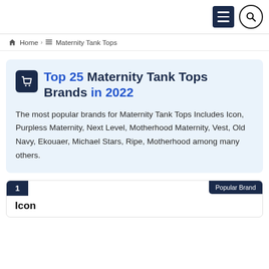Navigation header with menu and search icons
Home › Maternity Tank Tops
Top 25 Maternity Tank Tops Brands in 2022
The most popular brands for Maternity Tank Tops Includes Icon, Purpless Maternity, Next Level, Motherhood Maternity, Vest, Old Navy, Ekouaer, Michael Stars, Ripe, Motherhood among many others.
1 | Popular Brand
Icon